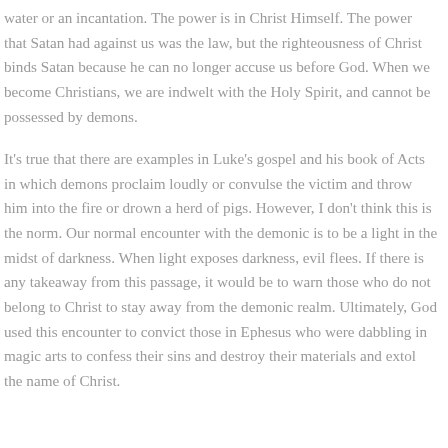water or an incantation. The power is in Christ Himself. The power that Satan had against us was the law, but the righteousness of Christ binds Satan because he can no longer accuse us before God. When we become Christians, we are indwelt with the Holy Spirit, and cannot be possessed by demons.
It's true that there are examples in Luke's gospel and his book of Acts in which demons proclaim loudly or convulse the victim and throw him into the fire or drown a herd of pigs. However, I don't think this is the norm. Our normal encounter with the demonic is to be a light in the midst of darkness. When light exposes darkness, evil flees. If there is any takeaway from this passage, it would be to warn those who do not belong to Christ to stay away from the demonic realm. Ultimately, God used this encounter to convict those in Ephesus who were dabbling in magic arts to confess their sins and destroy their materials and extol the name of Christ.